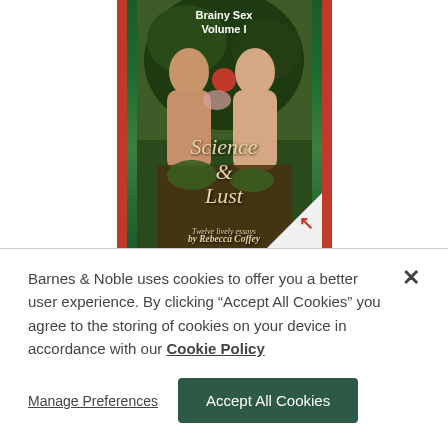[Figure (illustration): Book cover for 'Science & Lust' subtitled 'Brainy Sex Volume I' by Rebecca Coffey. Shows a classical painting-style image of a man and woman (Adam and Eve) with an apple and brain. Red border strips on sides. A page-turn corner fold with red arrow in bottom right corner of the cover.]
Barnes & Noble uses cookies to offer you a better user experience. By clicking "Accept All Cookies" you agree to the storing of cookies on your device in accordance with our Cookie Policy
Manage Preferences
Accept All Cookies